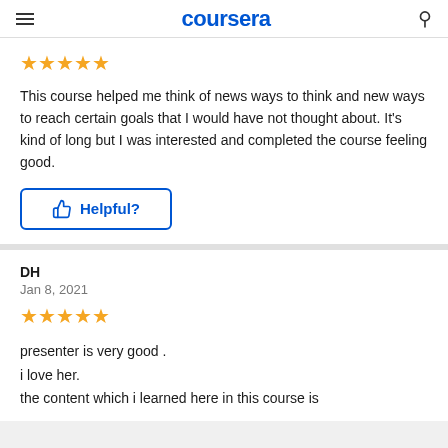coursera
[Figure (other): 5 gold star rating]
This course helped me think of news ways to think and new ways to reach certain goals that I would have not thought about. It's kind of long but I was interested and completed the course feeling good.
Helpful?
DH
Jan 8, 2021
[Figure (other): 5 gold star rating]
presenter is very good .
i love her.
the content which i learned here in this course is